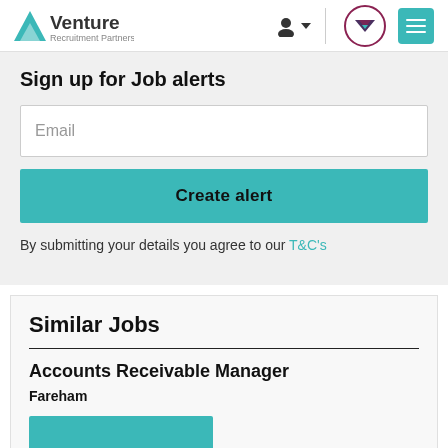[Figure (logo): Venture Recruitment Partners logo with teal triangle and text]
Sign up for Job alerts
Email
Create alert
By submitting your details you agree to our T&C's
Similar Jobs
Accounts Receivable Manager
Fareham